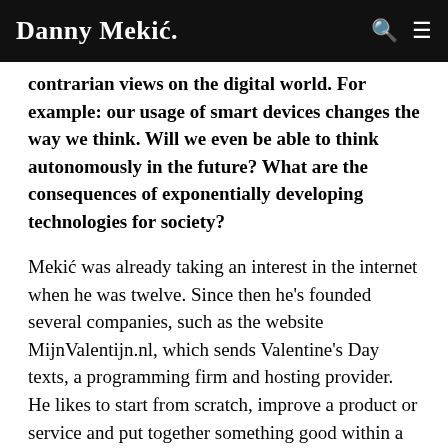Danny Mekić.
contrarian views on the digital world. For example: our usage of smart devices changes the way we think. Will we even be able to think autonomously in the future? What are the consequences of exponentially developing technologies for society?
Mekić was already taking an interest in the internet when he was twelve. Since then he's founded several companies, such as the website MijnValentijn.nl, which sends Valentine's Day texts, a programming firm and hosting provider. He likes to start from scratch, improve a product or service and put together something good within a few weeks. After some time, Mekić ended up getting more and more invitations